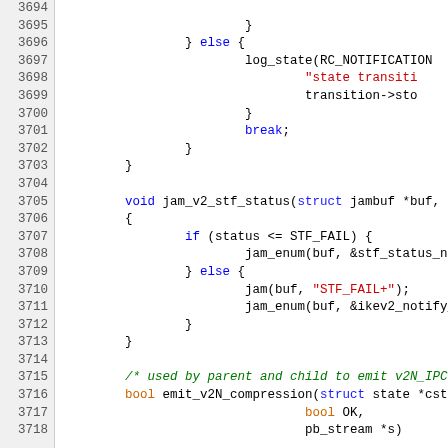[Figure (screenshot): Source code listing in C with syntax highlighting, showing lines 3694-3718. Contains functions including jam_v2_stf_status and emit_v2N_compression. Syntax highlighted with blue keywords, red strings, green comments.]